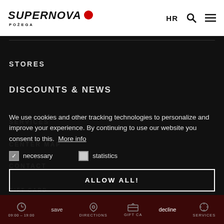[Figure (logo): Supernova Požega logo with red dot]
HR  🔍  ≡
STORES
DISCOUNTS & NEWS
SERVICES
CENTER MAP
CONTACT
We use cookies and other tracking technologies to personalize and improve your experience. By continuing to use our website you consent to this. More info
necessary (checked)
statistics (unchecked)
GIFT CARD
ALLOW ALL!
09:00 – 19:00  save  DIRECTIONS  GIFT CARD  decline  SERVICES